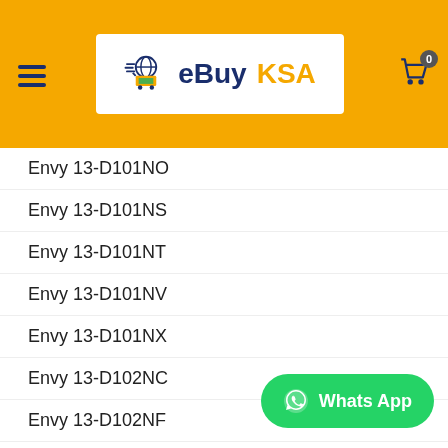[Figure (logo): eBuy KSA logo with shopping cart icon on orange header background]
Envy 13-D101NO
Envy 13-D101NS
Envy 13-D101NT
Envy 13-D101NV
Envy 13-D101NX
Envy 13-D102NC
Envy 13-D102NF
Envy 13-D102NG
Envy 13-D102NI
Envy 13-D102NN
Envy 13-D102NP
Envy 13-D102NS